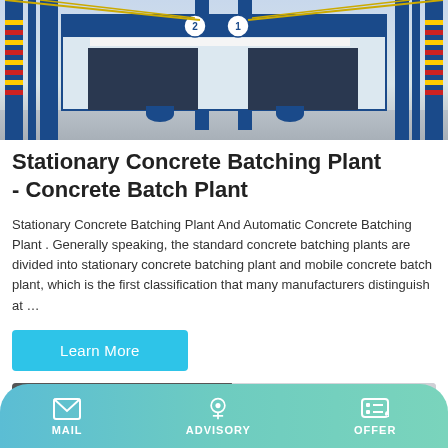[Figure (photo): Stationary concrete batching plant with blue steel frame structure, two loading bays with dark doors, yellow and red safety markings on columns, concrete floor area]
Stationary Concrete Batching Plant - Concrete Batch Plant
Stationary Concrete Batching Plant And Automatic Concrete Batching Plant . Generally speaking, the standard concrete batching plants are divided into stationary concrete batching plant and mobile concrete batch plant, which is the first classification that many manufacturers distinguish at …
Learn More
[Figure (photo): Partial view of dark-colored concrete batching equipment, close-up showing machinery panels]
MAIL   ADVISORY   OFFER